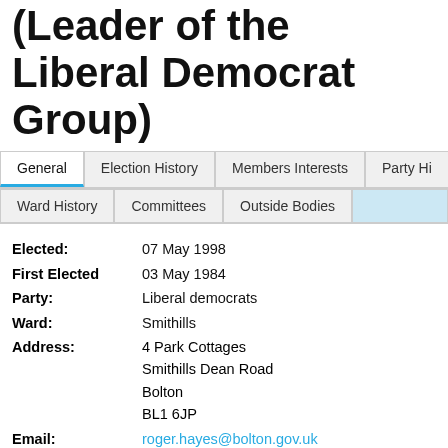(Leader of the Liberal Democrat Group)
General | Election History | Members Interests | Party Hi...
Ward History | Committees | Outside Bodies
| Field | Value |
| --- | --- |
| Elected: | 07 May 1998 |
| First Elected | 03 May 1984 |
| Party: | Liberal democrats |
| Ward: | Smithills |
| Address: | 4 Park Cottages
Smithills Dean Road
Bolton
BL1 6JP |
| Email: | roger.hayes@bolton.gov.uk |
| Telephone No: | (01204) 841008 |
| Biography: |  |